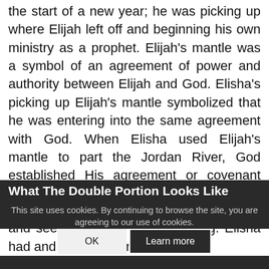the start of a new year; he was picking up where Elijah left off and beginning his own ministry as a prophet. Elijah's mantle was a symbol of an agreement of power and authority between Elijah and God. Elisha's picking up Elijah's mantle symbolized that he was entering into the same agreement with God. When Elisha used Elijah's mantle to part the Jordan River, God established His agreement or covenant with Elisha.
What The Double Portion Looks Like
This site uses cookies. By continuing to browse the site, you are agreeing to our use of cookies.
Everyone is at a different level of hearing and seeing spiritual understanding. Elisha had and been personally